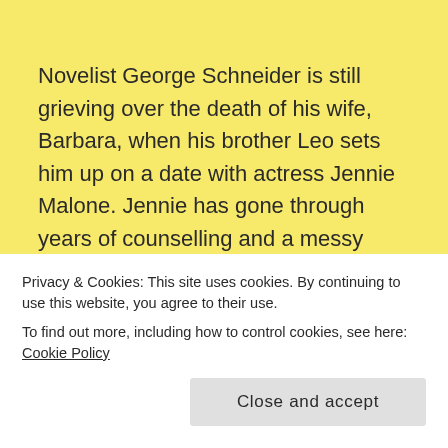Novelist George Schneider is still grieving over the death of his wife, Barbara, when his brother Leo sets him up on a date with actress Jennie Malone. Jennie has gone through years of counselling and a messy divorce and neither of them consider themselves ready for a new relationship. However, when the efforts of Leo and Jennie's best friend Faye, whose marriages are also in trouble, proves unexpectedly successful chaos ensues.
Privacy & Cookies: This site uses cookies. By continuing to use this website, you agree to their use. To find out more, including how to control cookies, see here: Cookie Policy
at heart, a serious examination of what it means